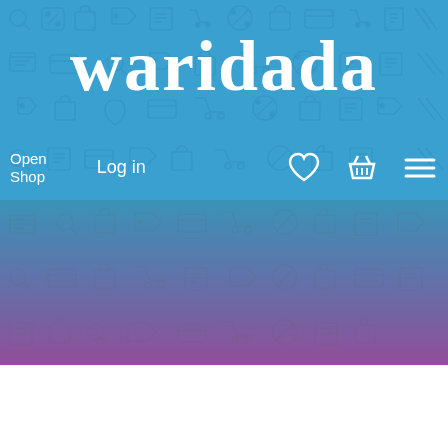[Figure (screenshot): Waridada e-commerce website screenshot showing blue header with brand name 'waridada', navigation bar with 'Open Shop', 'Log in', heart icon, basket icon, and menu icon. Below the header is a gradient section transitioning from blue to pink/magenta with a repeated shopping icon pattern overlay. The bottom portion is white.]